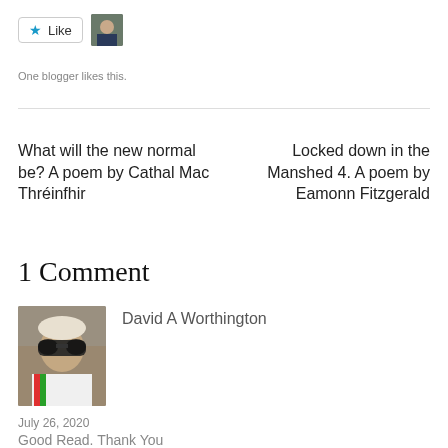[Figure (other): Like button with star icon and small avatar photo]
One blogger likes this.
What will the new normal be? A poem by Cathal Mac Thréinfhir
Locked down in the Manshed 4. A poem by Eamonn Fitzgerald
1 Comment
[Figure (photo): Avatar photo of David A Worthington wearing sunglasses]
David A Worthington
July 26, 2020
Good Read. Thank You